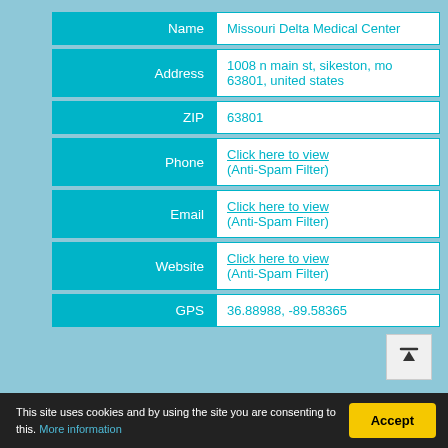| Field | Value |
| --- | --- |
| Name | Missouri Delta Medical Center |
| Address | 1008 n main st, sikeston, mo 63801, united states |
| ZIP | 63801 |
| Phone | Click here to view (Anti-Spam Filter) |
| Email | Click here to view (Anti-Spam Filter) |
| Website | Click here to view (Anti-Spam Filter) |
| GPS | 36.88988, -89.58365 |
This site uses cookies and by using the site you are consenting to this. More information
Accept